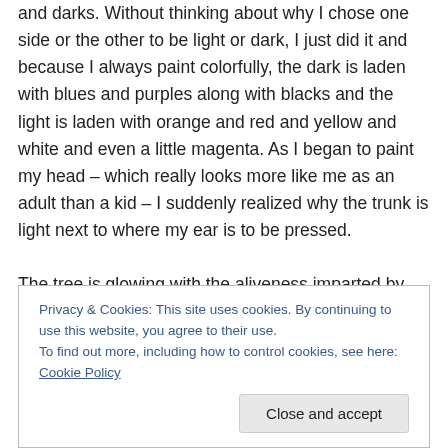and darks. Without thinking about why I chose one side or the other to be light or dark, I just did it and because I always paint colorfully, the dark is laden with blues and purples along with blacks and the light is laden with orange and red and yellow and white and even a little magenta. As I began to paint my head – which really looks more like me as an adult than a kid – I suddenly realized why the trunk is light next to where my ear is to be pressed.
The tree is glowing with the aliveness imparted by our new kinship.
Privacy & Cookies: This site uses cookies. By continuing to use this website, you agree to their use.
To find out more, including how to control cookies, see here: Cookie Policy